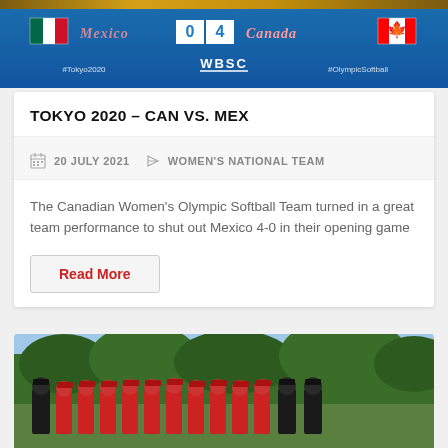[Figure (screenshot): WBSC scoreboard showing Mexico vs Canada game, score 0-4, Tokyo 2020 Olympic Softball]
TOKYO 2020 – CAN VS. MEX
20 JULY 2021   WOMEN'S NATIONAL TEAM
The Canadian Women's Olympic Softball Team turned in a great team performance to shut out Mexico 4-0 in their opening game
Read More
[Figure (photo): Team photo of Canadian Women's Softball team in red uniforms with coaches in black, outdoors with trees in background]